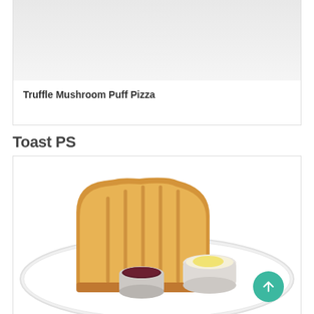[Figure (photo): Partial view of Truffle Mushroom Puff Pizza product image (cropped at top)]
Truffle Mushroom Puff Pizza
Toast PS
[Figure (photo): Photo of Toast PS: a thick slice of toasted bread served on a white plate with two small ramekins, one containing jam and one containing butter]